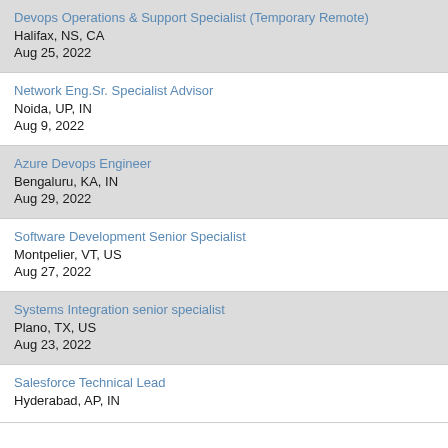Devops Operations & Support Specialist (Temporary Remote)
Halifax, NS, CA
Aug 25, 2022
Network Eng.Sr. Specialist Advisor
Noida, UP, IN
Aug 9, 2022
Azure Devops Engineer
Bengaluru, KA, IN
Aug 29, 2022
Software Development Senior Specialist
Montpelier, VT, US
Aug 27, 2022
Systems Integration senior specialist
Plano, TX, US
Aug 23, 2022
Salesforce Technical Lead
Hyderabad, AP, IN